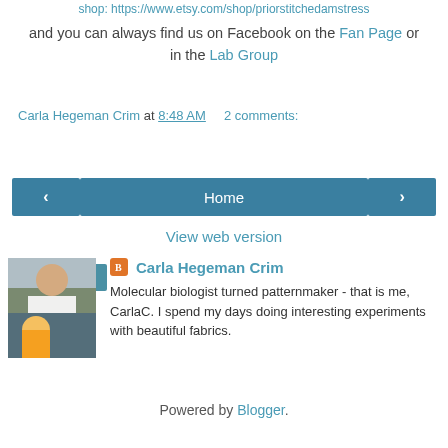shop: https://www.etsy.com/shop/priorstitchesamstress
and you can always find us on Facebook on the Fan Page or in the Lab Group
Carla Hegeman Crim at 8:48 AM    2 comments:
Share
< Home >
View web version
Carla Hegeman Crim
Molecular biologist turned patternmaker - that is me, CarlaC. I spend my days doing interesting experiments with beautiful fabrics.
View my complete profile
Powered by Blogger.